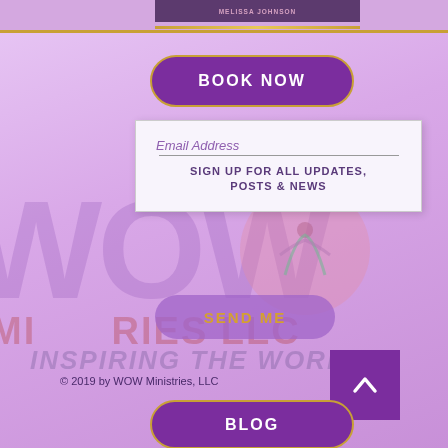[Figure (screenshot): Website screenshot of WOW Ministries LLC page showing MELISSA JOHNSON header, BOOK NOW button, email signup form, WOW background text, SEND ME button, copyright footer, and BLOG button on a purple/lavender background]
MELISSA JOHNSON
BOOK NOW
Email Address
SIGN UP FOR ALL UPDATES, POSTS & NEWS
SEND ME
© 2019 by WOW Ministries, LLC
BLOG